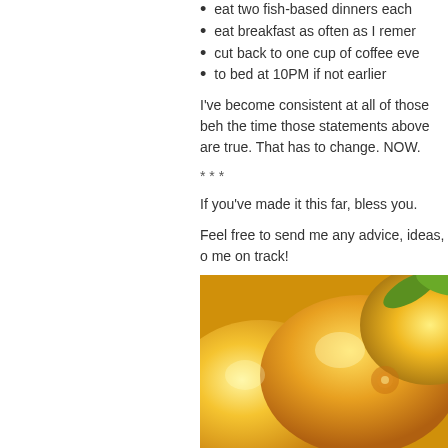eat two fish-based dinners each
eat breakfast as often as I remen
cut back to one cup of coffee eve
to bed at 10PM if not earlier
I've become consistent at all of those beh the time those statements above are true. That has to change. NOW.
* * *
If you've made it this far, bless you.
Feel free to send me any advice, ideas, o me on track!
[Figure (photo): Close-up photo of yellow lemons or citrus fruits with green leaves]
Posted on 07 January 2011 at 06:00 AM in do, fo
Tweet
Pin it
17 November 2010
Wellness Wednesday: